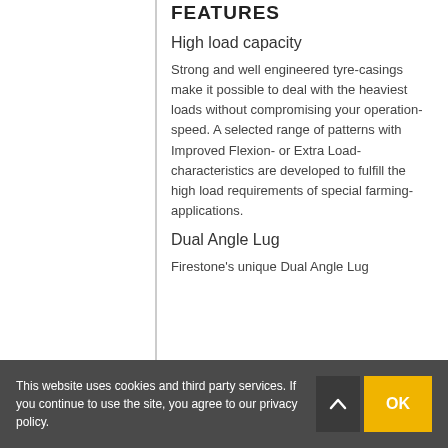FEATURES
High load capacity
Strong and well engineered tyre-casings make it possible to deal with the heaviest loads without compromising your operation-speed. A selected range of patterns with Improved Flexion- or Extra Load-characteristics are developed to fulfill the high load requirements of special farming-applications.
Dual Angle Lug
Firestone's unique Dual Angle Lug technology…
This website uses cookies and third party services. If you continue to use the site, you agree to our privacy policy.